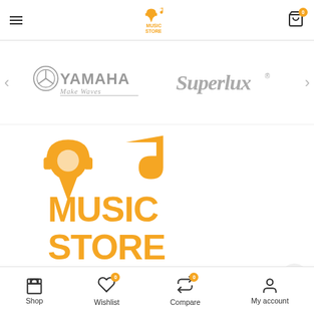[Figure (logo): Music Store app header with hamburger menu, Music Store logo in yellow, and cart icon with badge 0]
[Figure (logo): Yamaha Make Waves logo in gray]
[Figure (logo): Superlux logo in gray italic]
[Figure (logo): Large Music Store Armenia logo in yellow with headphones, location pin, music note, MUSIC STORE text]
Music Store Armenia, Shop and showroom of professional light and audio equipment, as well as stage and video equipment.
[Figure (infographic): Bottom navigation bar with Shop, Wishlist (badge 0), Compare (badge 0), My account icons]